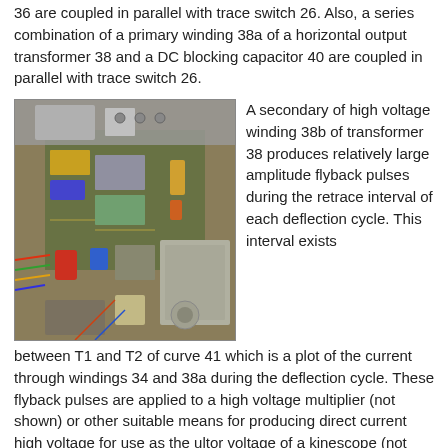36 are coupled in parallel with trace switch 26. Also, a series combination of a primary winding 38a of a horizontal output transformer 38 and a DC blocking capacitor 40 are coupled in parallel with trace switch 26.
[Figure (photo): Photograph of an electronic circuit board (PCB) with various components including capacitors, transformers, and wiring, viewed from above.]
A secondary of high voltage winding 38b of transformer 38 produces relatively large amplitude flyback pulses during the retrace interval of each deflection cycle. This interval exists between T1 and T2 of curve 41 which is a plot of the current through windings 34 and 38a during the deflection cycle. These flyback pulses are applied to a high voltage multiplier (not shown) or other suitable means for producing direct current high voltage for use as the ultor voltage of a kinescope (not shown).